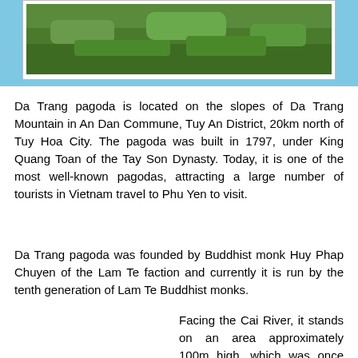[Figure (photo): Partial view of green grassy landscape/hillside at the top of the page]
Da Trang pagoda is located on the slopes of Da Trang Mountain in An Dan Commune, Tuy An District, 20km north of Tuy Hoa City. The pagoda was built in 1797, under King Quang Toan of the Tay Son Dynasty. Today, it is one of the most well-known pagodas, attracting a large number of tourists in Vietnam travel to Phu Yen to visit.
Da Trang pagoda was founded by Buddhist monk Huy Phap Chuyen of the Lam Te faction and currently it is run by the tenth generation of Lam Te Buddhist monks.
Facing the Cai River, it stands on an area approximately 100m high, which was once the capital of Phu Yen Province in the 17th century. There is a treacherous road paved